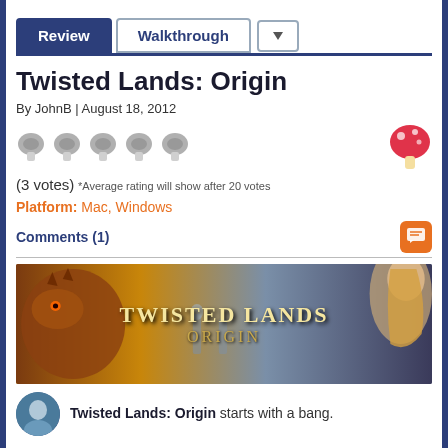Review  Walkthrough
Twisted Lands: Origin
By JohnB | August 18, 2012
[Figure (illustration): Five gray mushroom rating icons in a row, and one pink/red mushroom icon on the right]
(3 votes) *Average rating will show after 20 votes
Platform: Mac, Windows
Comments (1)
[Figure (illustration): Twisted Lands: Origin game banner showing a dragon on the left, the game title in golden text in the center, adventurers in the middle background, and a blonde woman on the right]
Twisted Lands: Origin starts with a bang.